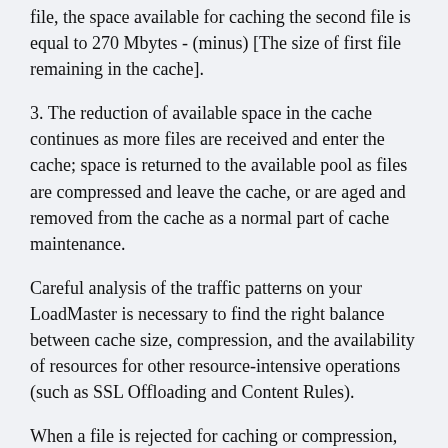file, the space available for caching the second file is equal to 270 Mbytes - (minus) [The size of first file remaining in the cache].
3. The reduction of available space in the cache continues as more files are received and enter the cache; space is returned to the available pool as files are compressed and leave the cache, or are aged and removed from the cache as a normal part of cache maintenance.
Careful analysis of the traffic patterns on your LoadMaster is necessary to find the right balance between cache size, compression, and the availability of resources for other resource-intensive operations (such as SSL Offloading and Content Rules).
When a file is rejected for caching or compression, an entry is written in the log that follows this format:
For further explanation see the logged file: /etc/klu...